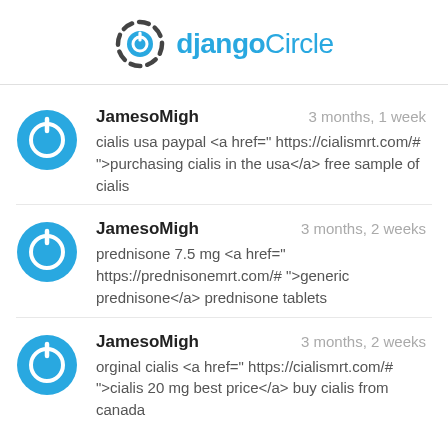[Figure (logo): djangoCircle logo with circular dj icon in dark gray and blue text reading djangoCircle]
JamesoMigh 3 months, 1 week
cialis usa paypal <a href=" https://cialismrt.com/# ">purchasing cialis in the usa</a> free sample of cialis
JamesoMigh 3 months, 2 weeks
prednisone 7.5 mg <a href=" https://prednisonemrt.com/# ">generic prednisone</a> prednisone tablets
JamesoMigh 3 months, 2 weeks
orginal cialis <a href=" https://cialismrt.com/# ">cialis 20 mg best price</a> buy cialis from canada